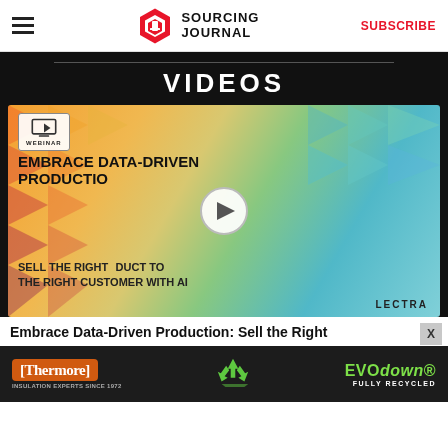Sourcing Journal | SUBSCRIBE
VIDEOS
[Figure (screenshot): Webinar video thumbnail for Lectra: 'Embrace Data-Driven Production: Sell the Right Product to the Right Customer with AI'. Shows colorful geometric triangle background with play button in center and Lectra logo.]
Embrace Data-Driven Production: Sell the Right
[Figure (illustration): Thermore Insulation Experts Since 1972 / EVOdown Fully Recycled advertisement banner with recycling icon.]